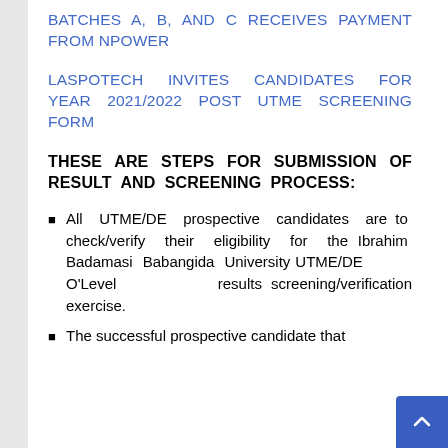BATCHES A, B, AND C RECEIVES PAYMENT FROM NPOWER
LASPOTECH INVITES CANDIDATES FOR YEAR 2021/2022 POST UTME SCREENING FORM
THESE ARE STEPS FOR SUBMISSION OF RESULT AND SCREENING PROCESS:
All UTME/DE prospective candidates are to check/verify their eligibility for the Ibrahim Badamasi Babangida University UTME/DE O'Level results screening/verification exercise.
The successful prospective candidate that